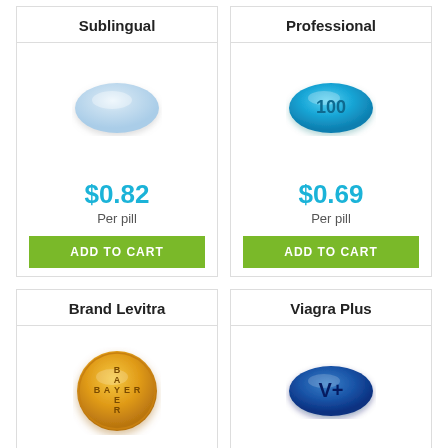Sublingual
[Figure (illustration): Light blue oval/teardrop shaped sublingual pill]
$0.82
Per pill
ADD TO CART
Professional
[Figure (illustration): Bright blue oval pill with '100' printed on it]
$0.69
Per pill
ADD TO CART
Brand Levitra
[Figure (illustration): Gold/orange circular Bayer branded pill with BAYER text engraved]
$4.16
Per pill
ADD TO CART
Viagra Plus
[Figure (illustration): Dark blue oval pill with V+ text on it]
$0.75
Per pill
ADD TO CART